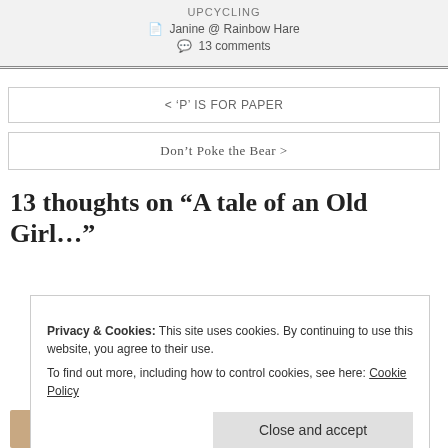UPCYCLING
Janine @ Rainbow Hare
13 comments
< 'P' IS FOR PAPER
Don't Poke the Bear >
13 thoughts on “A tale of an Old Girl…”
Privacy & Cookies: This site uses cookies. By continuing to use this website, you agree to their use. To find out more, including how to control cookies, see here: Cookie Policy
Close and accept
tona coner